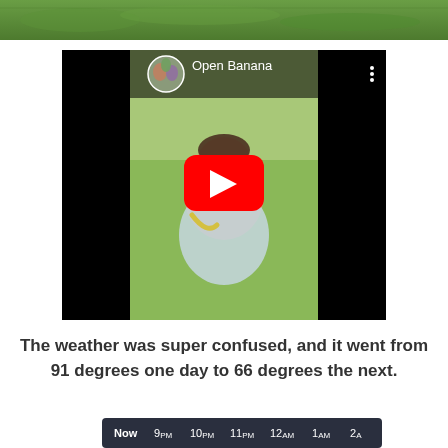[Figure (photo): Partial green grass/field image at top of page, cropped]
[Figure (screenshot): YouTube video embed titled 'Open Banana' showing a baby sitting outdoors holding a banana, with a red YouTube play button overlay, black letterbox bars on sides, and a circular profile photo of a family group in top left]
The weather was super confused, and it went from 91 degrees one day to 66 degrees the next.
[Figure (screenshot): Weather app hourly forecast bar showing time labels: Now, 9PM, 10PM, 11PM, 12AM, 1AM, 2A — dark background with white text]